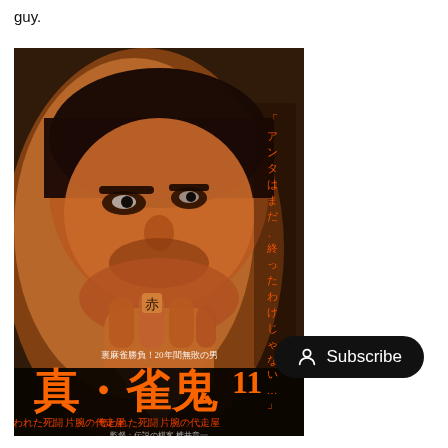guy.
[Figure (photo): Japanese movie poster for '真・雀鬼11 奪われた死闘 片腕の代走屋' featuring a close-up of a man in a suit looking intensely at the camera with a kanji character tattooed on his finger. Text on the right side reads in Japanese. Bottom of the poster shows the movie title in large orange kanji characters with subtitle text.]
Subscribe